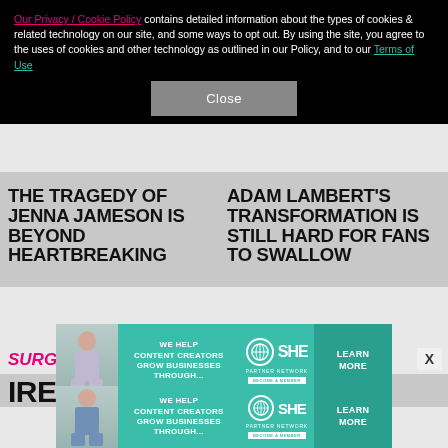Our Privacy / Cookie Policy contains detailed information about the types of cookies & related technology on our site, and some ways to opt out. By using the site, you agree to the uses of cookies and other technology as outlined in our Policy, and to our Terms of Use
Close
THE TRAGEDY OF JENNA JAMESON IS BEYOND HEARTBREAKING
ADAM LAMBERT'S TRANSFORMATION IS STILL HARD FOR FANS TO SWALLOW
[Figure (infographic): SHE Media Partner Network advertisement: We help content creators grow businesses through... Learn More]
SURGERY
X
[Figure (infographic): SHE Media Partner Network advertisement bottom: We help content creators grow businesses through... Learn More]